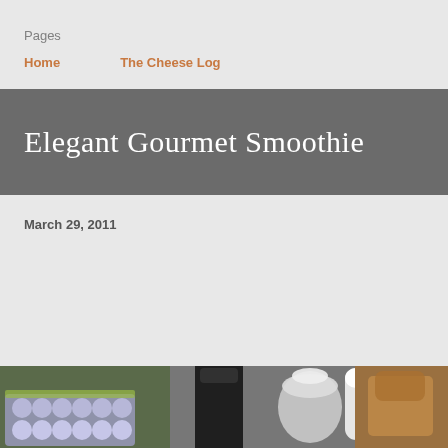Pages
Home
The Cheese Log
Elegant Gourmet Smoothie
March 29, 2011
[Figure (photo): Kitchen scene showing an egg carton on the left, a dark blender bottle in the center, a silver blender/kitchen appliance canister, a white kitchen tool, and a brown/orange item on the right.]